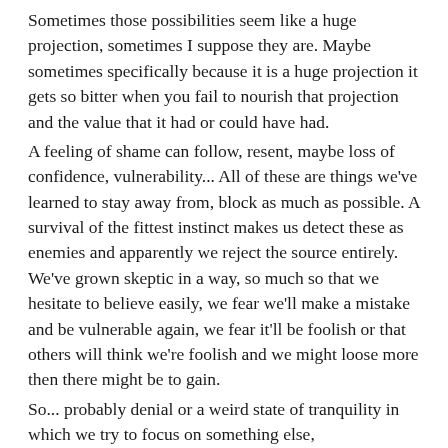Sometimes those possibilities seem like a huge projection, sometimes I suppose they are. Maybe sometimes specifically because it is a huge projection it gets so bitter when you fail to nourish that projection and the value that it had or could have had.
A feeling of shame can follow, resent, maybe loss of confidence, vulnerability... All of these are things we've learned to stay away from, block as much as possible. A survival of the fittest instinct makes us detect these as enemies and apparently we reject the source entirely. We've grown skeptic in a way, so much so that we hesitate to believe easily, we fear we'll make a mistake and be vulnerable again, we fear it'll be foolish or that others will think we're foolish and we might loose more then there might be to gain.
So... probably denial or a weird state of tranquility in which we try to focus on something else,